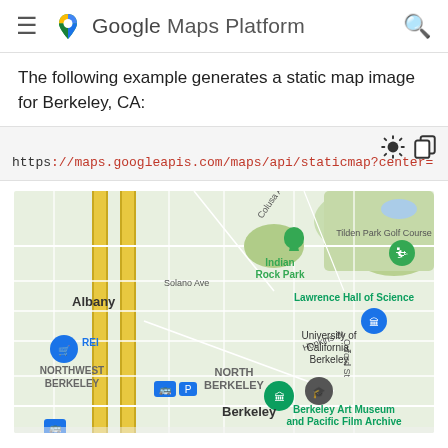≡  Google Maps Platform  🔍
The following example generates a static map image for Berkeley, CA:
https://maps.googleapis.com/maps/api/staticmap?center=
[Figure (map): Google Maps static map image showing Berkeley, CA area including Albany, Northwest Berkeley, North Berkeley, Indian Rock Park, Tilden Park Golf Course, Lawrence Hall of Science, University of California Berkeley, Berkeley Art Museum and Pacific Film Archive, REI, and other landmarks.]